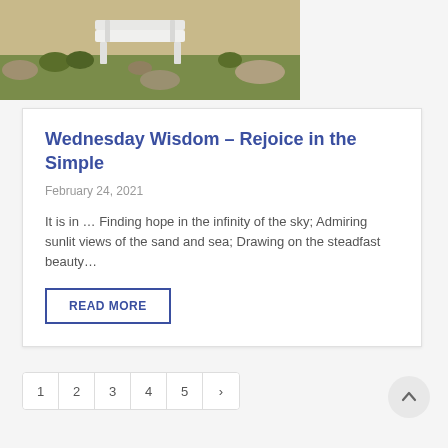[Figure (photo): Outdoor photo showing a white metal bench on grass with rocks and shrubs in background]
Wednesday Wisdom – Rejoice in the Simple
February 24, 2021
It is in … Finding hope in the infinity of the sky; Admiring sunlit views of the sand and sea; Drawing on the steadfast beauty…
READ MORE
1  2  3  4  5  >